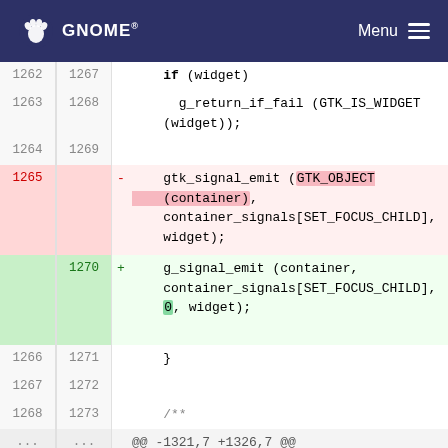GNOME   Menu
[Figure (screenshot): Code diff view showing GTK container signal emit change from gtk_signal_emit with GTK_OBJECT to g_signal_emit with 0 argument, across line numbers 1262-1328.]